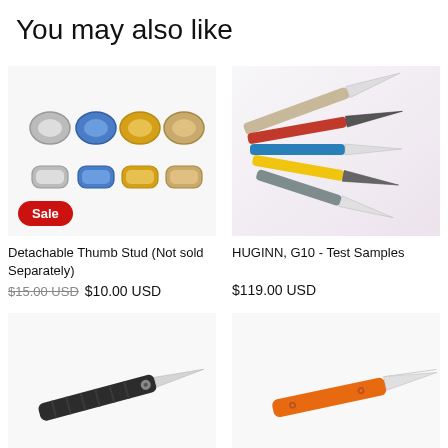You may also like
[Figure (photo): Eight small metal thumb studs in various colors and finishes (silver, blue, gold, brass) arranged in two rows; a red Sale badge at bottom left]
[Figure (photo): Several folding pocket knives with G10 handles in multiple colors (brown, red, blue, yellow, gray) fanned out on a white/pink background]
Detachable Thumb Stud (Not sold Separately)
HUGINN, G10 - Test Samples
$15.00 USD  $10.00 USD
$119.00 USD
[Figure (photo): A folding knife with dark gray carbon fiber-style handle, partially open, shown on white background; red Sale badge at bottom left]
[Figure (photo): A folding knife with bright orange G10 handle, partially open, shown on white background; red Sale badge partially visible at bottom]